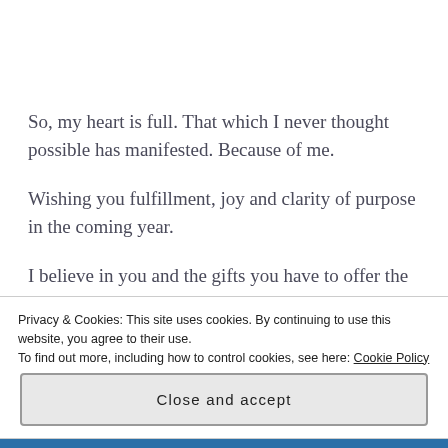So, my heart is full. That which I never thought possible has manifested. Because of me.
Wishing you fulfillment, joy and clarity of purpose in the coming year.
I believe in you and the gifts you have to offer the
Privacy & Cookies: This site uses cookies. By continuing to use this website, you agree to their use.
To find out more, including how to control cookies, see here: Cookie Policy
Close and accept